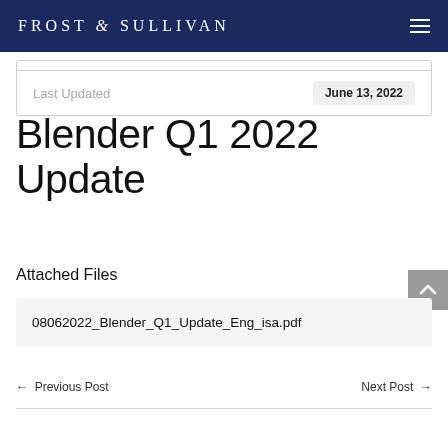FROST & SULLIVAN
| Last Updated | June 13, 2022 |
| --- | --- |
Blender Q1 2022 Update
Attached Files
08062022_Blender_Q1_Update_Eng_isa.pdf
← Previous Post
Next Post →